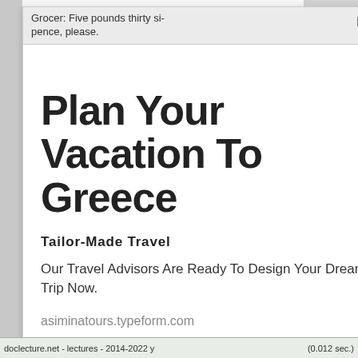Grocer: Five pounds thirty si- pence, please.
[Figure (screenshot): Advertisement overlay for 'Plan Your Vacation To Greece' by asiminatours.typeform.com with title, subtitle 'Tailor-Made Travel', body text, and URL. Overlaid on a webpage from doclecture.net.]
Plan Your Vacation To Greece
Tailor-Made Travel
Our Travel Advisors Are Ready To Design Your Dream Trip Now.
asiminatours.typeform.com
doclecture.net - lectures - 2014-2022 y... (0.012 sec.)